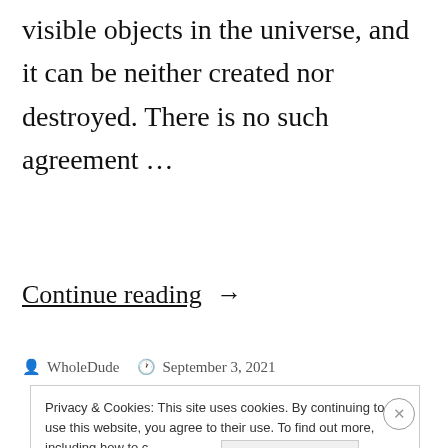visible objects in the universe, and it can be neither created nor destroyed. There is no such agreement …
Continue reading →
WholeDude   September 3, 2021
Privacy & Cookies: This site uses cookies. By continuing to use this website, you agree to their use. To find out more, including how to control cookies, see here: Cookie Policy
Close and accept